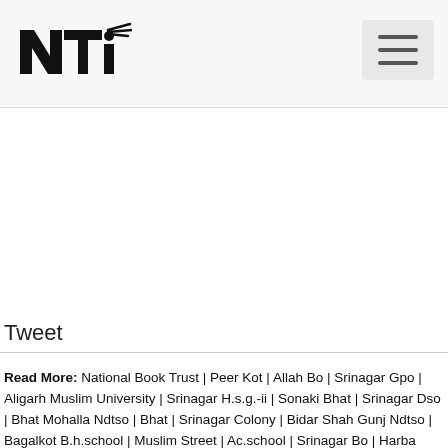NTI logo and navigation
Tweet
Read More: National Book Trust | Peer Kot | Allah Bo | Srinagar Gpo | Aligarh Muslim University | Srinagar H.s.g.-ii | Sonaki Bhat | Srinagar Dso | Bhat Mohalla Ndtso | Bhat | Srinagar Colony | Bidar Shah Gunj Ndtso | Bagalkot B.h.school | Muslim Street | Ac.school | Srinagar Bo | Harba Srinagar | Srinagar Makrapara | Chirai Muslim Edbo | Jama | Mukundpur Bhat